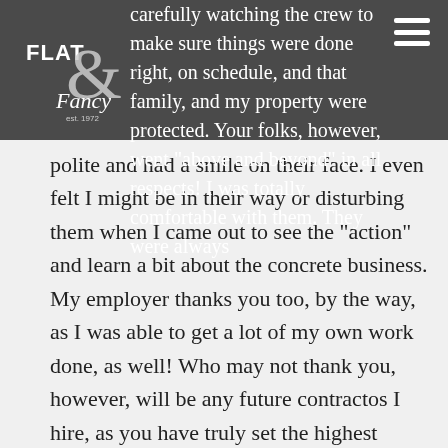[Figure (logo): Flat & Fancy logo with ampersand design, est. 1972]
carefully watching the crew to make sure things were done right, on schedule, and that family, and my property were protected. Your folks, however, went "above and beyond" in all respects! I was totally comfortable with them. They were always polite and had a smile on their face. I even felt I might be in their way or disturbing them when I came out to see the "action" and learn a bit about the concrete business. My employer thanks you too, by the way, as I was able to get a lot of my own work done, as well! Who may not thank you, however, will be any future contractos I hire, as you have truly set the highest standards for the home-owner-to-contractor relationship and job performance. You're going to be a very